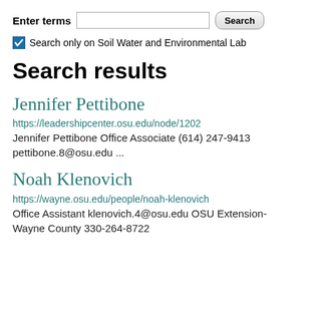Enter terms [input] Search
Search only on Soil Water and Environmental Lab
Search results
Jennifer Pettibone
https://leadershipcenter.osu.edu/node/1202
Jennifer Pettibone Office Associate (614) 247-9413 pettibone.8@osu.edu ...
Noah Klenovich
https://wayne.osu.edu/people/noah-klenovich
Office Assistant klenovich.4@osu.edu OSU Extension- Wayne County 330-264-8722